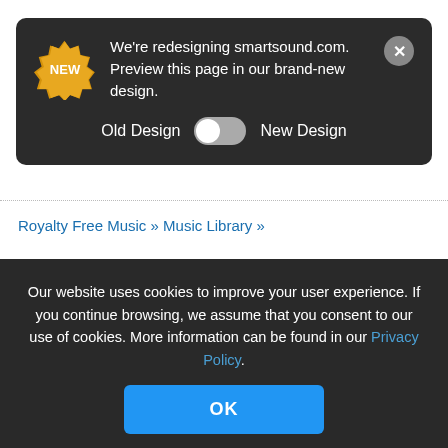[Figure (screenshot): Notification bar with 'NEW' badge, redesign toggle between Old Design and New Design, and close button]
Royalty Free Music » Music Library »
Royalty Free Music
GENRE
Our website uses cookies to improve your user experience. If you continue browsing, we assume that you consent to our use of cookies. More information can be found in our Privacy Policy.